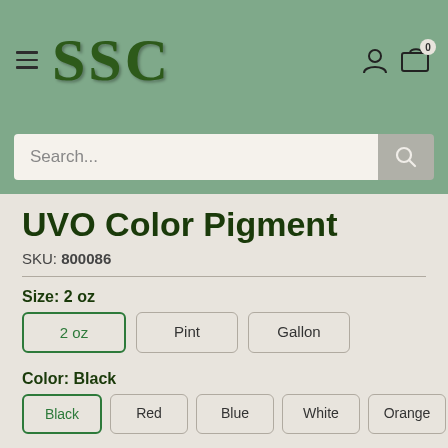SSC
UVO Color Pigment
SKU: 800086
Size: 2 oz
2 oz
Pint
Gallon
Color: Black
Black
Red
Blue
White
Orange